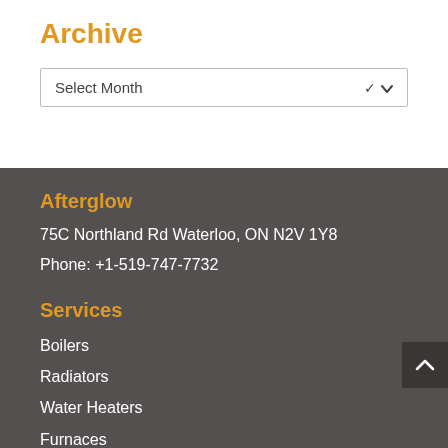Archive
[Figure (screenshot): A dropdown select box labeled 'Select Month' with a chevron arrow on the right side]
Afterglow
75C Northland Rd Waterloo, ON N2V 1Y8
Phone: +1-519-747-7732
Services
Boilers
Radiators
Water Heaters
Furnaces